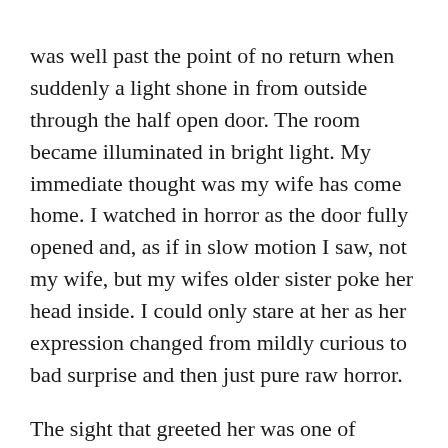was well past the point of no return when suddenly a light shone in from outside through the half open door. The room became illuminated in bright light. My immediate thought was my wife has come home. I watched in horror as the door fully opened and, as if in slow motion I saw, not my wife, but my wifes older sister poke her head inside. I could only stare at her as her expression changed from mildly curious to bad surprise and then just pure raw horror.
The sight that greeted her was one of confusion and naked bodies. The bed covers had long been kicked off so we were fully exposed when that light came on. I was desperately trying to withdraw from Emilys pussy even as my prick was still